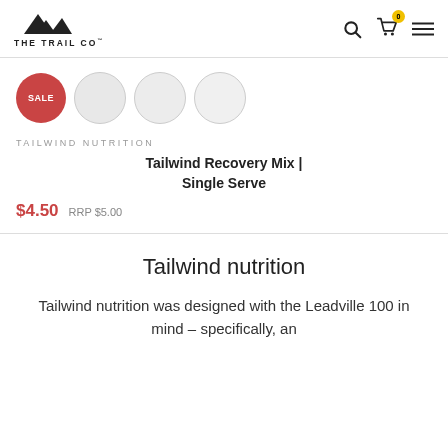THE TRAIL CO
[Figure (logo): The Trail Co logo with mountain silhouette and text]
SALE
TAILWIND NUTRITION
Tailwind Recovery Mix | Single Serve
$4.50  RRP $5.00
Tailwind nutrition
Tailwind nutrition was designed with the Leadville 100 in mind – specifically, an